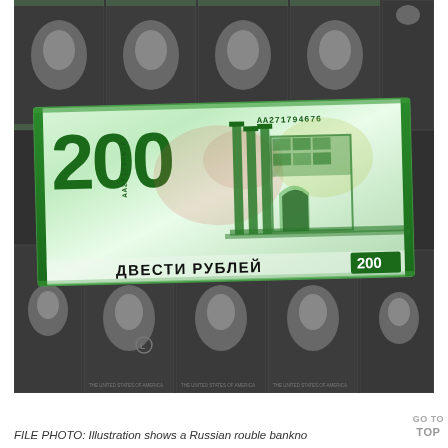[Figure (photo): FILE PHOTO: A Russian 200 rouble banknote (serial number AA271794676) displayed in front of multiple US one-dollar bills shown in grayscale/black and white. The ruble note features the Chersonesus ruins motif in green and the text ДВЕСТИ РУБЛЕЙ (two hundred rubles).]
FILE PHOTO: Illustration shows a Russian rouble banknote and U.S. dollar banknotes